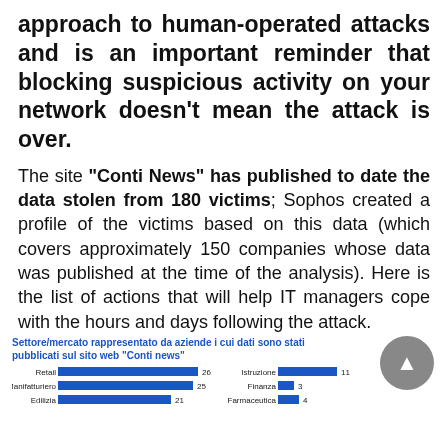approach to human-operated attacks and is an important reminder that blocking suspicious activity on your network doesn't mean the attack is over.
The site "Conti News" has published to date the data stolen from 180 victims; Sophos created a profile of the victims based on this data (which covers approximately 150 companies whose data was published at the time of the analysis). Here is the list of actions that will help IT managers cope with the hours and days following the attack.
[Figure (bar-chart): Settore/mercato rappresentato da aziende i cui dati sono stati pubblicati sul sito web "Conti news"]